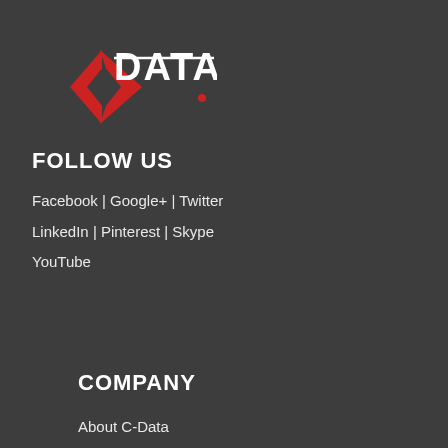[Figure (logo): C-DATA logo with red diamond/arrow shape and white text 'DATA' with red dot on the 'A']
FOLLOW US
Facebook | Google+ | Twitter
LinkedIn | Pinterest | Skype
YouTube
COMPANY
About C-Data